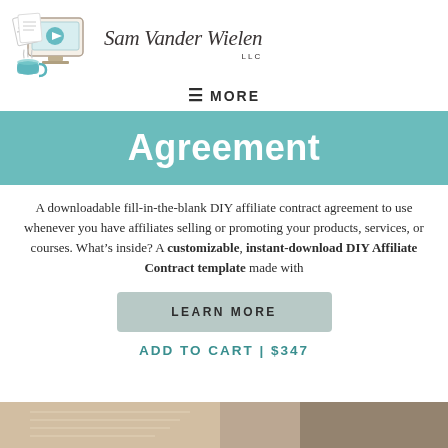[Figure (logo): Sam Vander Wielen LLC logo with illustrated computer monitor showing a play button, papers, and a coffee cup on the left; cursive brand name on the right]
≡ MORE
Agreement
A downloadable fill-in-the-blank DIY affiliate contract agreement to use whenever you have affiliates selling or promoting your products, services, or courses. What's inside? A customizable, instant-download DIY Affiliate Contract template made with
LEARN MORE
ADD TO CART | $347
[Figure (photo): Partial photo at bottom of page, appears to show documents or papers]